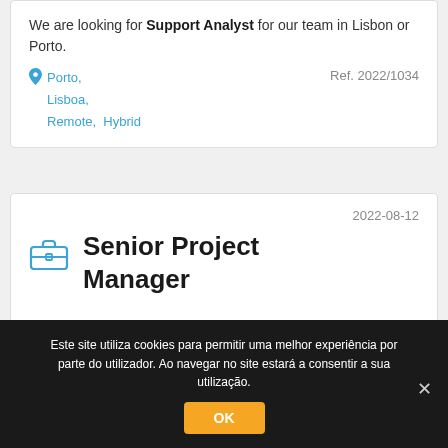We are looking for Support Analyst for our team in Lisbon or Porto.
Porto, Lisboa, Remote, Hybrid   Ref. 2022/1034
2022-08-12
Senior Project Manager
Este site utiliza cookies para permitir uma melhor experiência por parte do utilizador. Ao navegar no site estará a consentir a sua utilização.